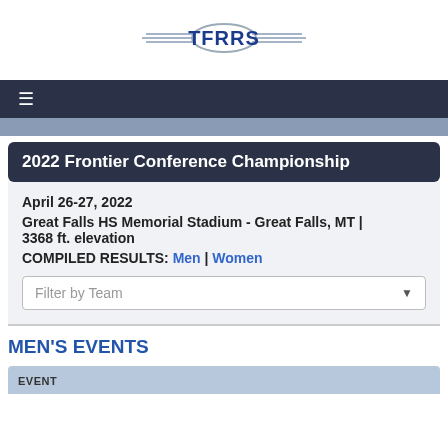[Figure (logo): TFRRS logo with wing decorations on each side]
≡
2022 Frontier Conference Championship
April 26-27, 2022
Great Falls HS Memorial Stadium - Great Falls, MT | 3368 ft. elevation
COMPILED RESULTS: Men | Women
MEN'S EVENTS
| EVENT |
| --- |